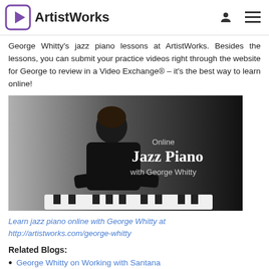ArtistWorks
George Whitty's jazz piano lessons at ArtistWorks. Besides the lessons, you can submit your practice videos right through the website for George to review in a Video Exchange® – it's the best way to learn online!
[Figure (photo): Photo of George Whitty playing piano at a keyboard, with text overlay reading 'Online Jazz Piano with George Whitty' on a dark background]
Learn jazz piano online with George Whitty at http://artistworks.com/george-whitty
Related Blogs:
George Whitty on Working with Santana